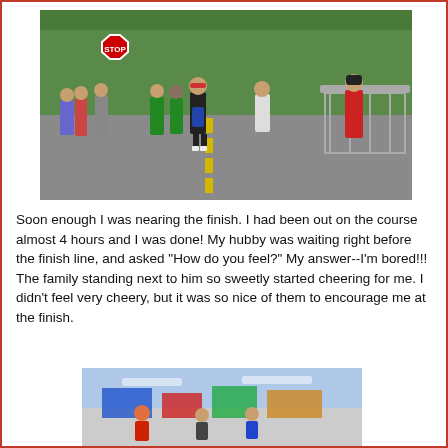[Figure (photo): Runners on a road course during a marathon, with metal barriers on the right side and lush green trees in the background. Multiple participants in colorful race attire are visible, including a woman in black and blue in the center and a person in red on the right.]
Soon enough I was nearing the finish. I had been out on the course almost 4 hours and I was done! My hubby was waiting right before the finish line, and asked "How do you feel?" My answer--I'm bored!!! The family standing next to him so sweetly started cheering for me. I didn't feel very cheery, but it was so nice of them to encourage me at the finish.
[Figure (photo): Partial view of marathon finish line area with spectators and race infrastructure visible.]